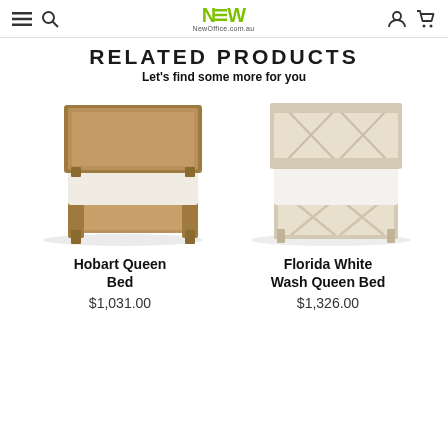NEW NewOffice.com.au
RELATED PRODUCTS
Let's find some more for you
[Figure (photo): Hobart Queen Bed – a wooden queen bed frame with solid brown/tan timber headboard and footboard, white bedding]
Hobart Queen Bed
$1,031.00
[Figure (photo): Florida White Wash Queen Bed – a white-washed wooden queen bed frame with cross-pattern headboard and footboard, white bedding]
Florida White Wash Queen Bed
$1,326.00